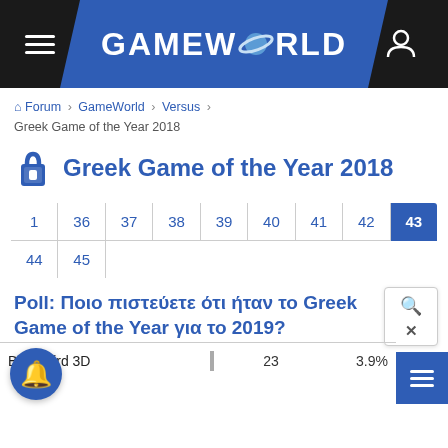GAMEWORLD
Forum > GameWorld > Versus > Greek Game of the Year 2018
Greek Game of the Year 2018
| 1 | 36 | 37 | 38 | 39 | 40 | 41 | 42 | 43 |
| 44 | 45 |
Poll: Ποιο πιστεύετε ότι ήταν το Greek Game of the Year για το 2019?
| Baby Bird 3D |  | 23 | 3.9% |